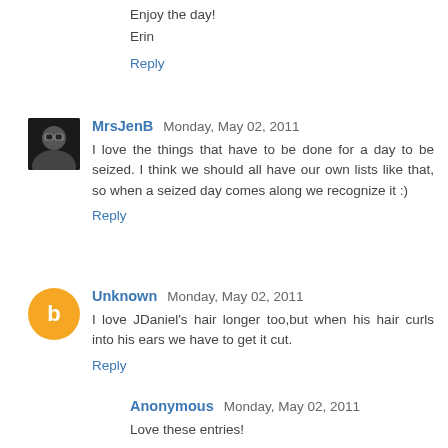Enjoy the day!
Erin
Reply
MrsJenB  Monday, May 02, 2011
I love the things that have to be done for a day to be seized. I think we should all have our own lists like that, so when a seized day comes along we recognize it :)
Reply
Unknown  Monday, May 02, 2011
I love JDaniel's hair longer too,but when his hair curls into his ears we have to get it cut.
Reply
Anonymous  Monday, May 02, 2011
Love these entries!